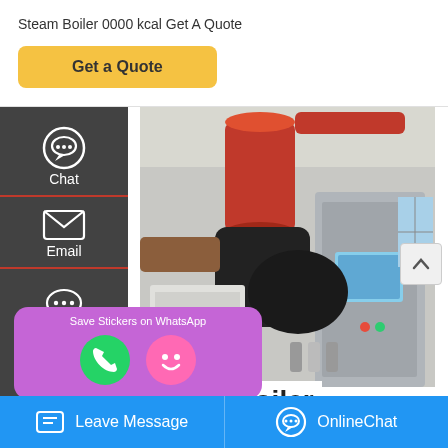Steam Boiler 0000 kcal Get A Quote
Get a Quote
[Figure (photo): Industrial steam/diesel boiler equipment in a facility, showing red cylindrical component, pipes, control panels, and machinery]
Diesel Boiler
Chat
Email
Contact
Save Stickers on WhatsApp
Leave Message
OnlineChat